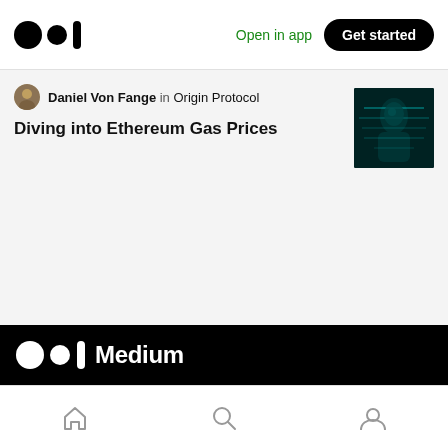Open in app | Get started
Daniel Von Fange in Origin Protocol
Diving into Ethereum Gas Prices
[Figure (photo): Dark teal/cyan image of a figure silhouette, article thumbnail]
[Figure (logo): Medium logo with wordmark on black background]
About  Help  Terms  Privacy
Get the Medium app
Home | Search | Profile navigation bar